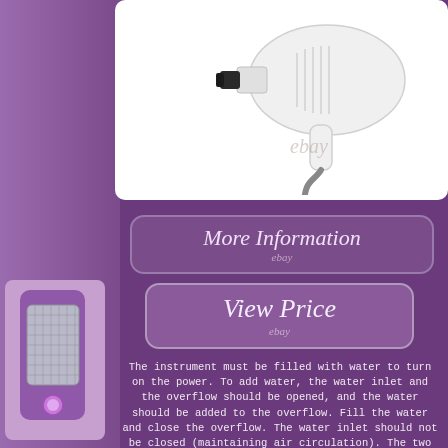[Figure (photo): White hair dryer / steam styling device with black nozzle and grey cord, photographed on white background with 'ebay' watermark]
[Figure (infographic): Purple 'More Information' button with ebay label]
[Figure (infographic): Purple 'View Price' button with ebay label]
The instrument must be filled with water to turn on the power. To add water, the water inlet and the overflow should be opened, and the water should be added to the overflow. Fill the water and close the overflow. The water inlet should not be closed (maintaining air circulation). The two dual handles must be plugged in at the same time to start the operation (only one handle is
[Figure (photo): Purple hair removal device on left side strip]